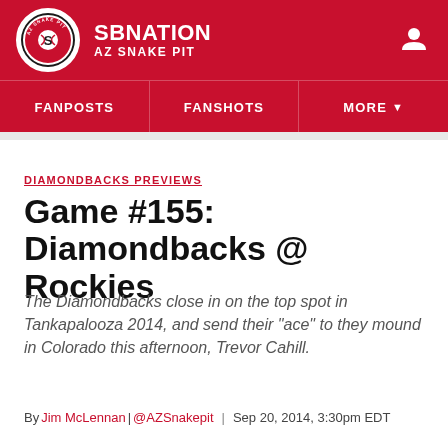SBNATION / AZ SNAKE PIT
[Figure (logo): SB Nation AZ Snake Pit circular logo with snake and baseball]
FANPOSTS   FANSHOTS   MORE
DIAMONDBACKS PREVIEWS
Game #155: Diamondbacks @ Rockies
The Diamondbacks close in on the top spot in Tankapalooza 2014, and send their "ace" to they mound in Colorado this afternoon, Trevor Cahill.
By Jim McLennan | @AZSnakepit | Sep 20, 2014, 3:30pm EDT